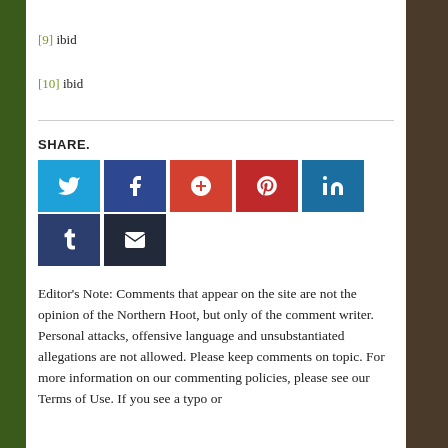[9] ibid
[10] ibid
SHARE.
[Figure (infographic): Social media share buttons: Twitter (light blue), Facebook (dark blue), Google+ (orange-red), Pinterest (dark red), LinkedIn (blue), Tumblr (dark navy), Email (dark navy)]
Editor’s Note: Comments that appear on the site are not the opinion of the Northern Hoot, but only of the comment writer. Personal attacks, offensive language and unsubstantiated allegations are not allowed. Please keep comments on topic. For more information on our commenting policies, please see our Terms of Use. If you see a typo or